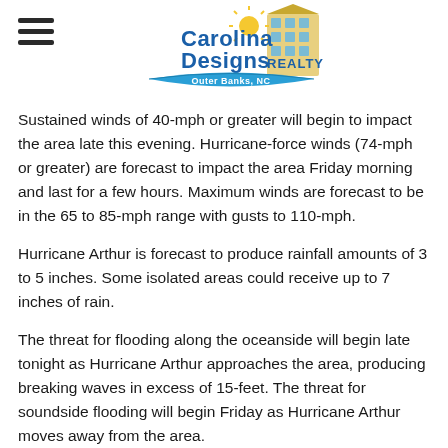Carolina Designs Realty - Outer Banks, NC
Sustained winds of 40-mph or greater will begin to impact the area late this evening. Hurricane-force winds (74-mph or greater) are forecast to impact the area Friday morning and last for a few hours. Maximum winds are forecast to be in the 65 to 85-mph range with gusts to 110-mph.
Hurricane Arthur is forecast to produce rainfall amounts of 3 to 5 inches. Some isolated areas could receive up to 7 inches of rain.
The threat for flooding along the oceanside will begin late tonight as Hurricane Arthur approaches the area, producing breaking waves in excess of 15-feet. The threat for soundside flooding will begin Friday as Hurricane Arthur moves away from the area.